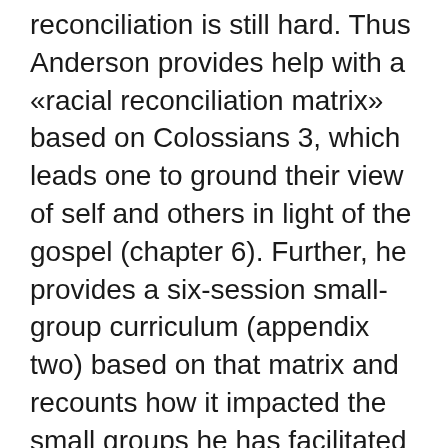reconciliation is still hard. Thus Anderson provides help with a «racial reconciliation matrix» based on Colossians 3, which leads one to ground their view of self and others in light of the gospel (chapter 6). Further, he provides a six-session small-group curriculum (appendix two) based on that matrix and recounts how it impacted the small groups he has facilitated (chapter 7). In order to help one assess one's personal views toward race, Anderson also provides a racial reconciliation continuum by which one may diagnose whether one is a racist or a reconciler (chapter 8). On a more corporate level, Anderson provides some suggestions for facilitating racial reconciliation in the gathered assembly (chapter 9). Such «groove strategies» allow one to practice what Anderson calls «gracism» (chapter 10). If racism is «speaking, acting or thinking negatively about someone based solely on his or